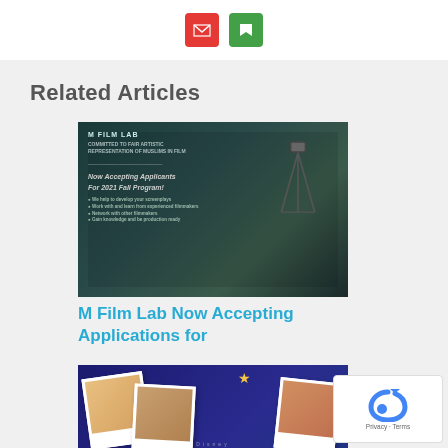[Figure (screenshot): Top bar with Gmail icon (red) and save icon (green)]
Related Articles
[Figure (photo): M Film Lab promotional image with text about accepting applications for 2021 Fall Program on dark teal background with film camera tripod]
M Film Lab Now Accepting Applications for
[Figure (photo): American Eid Disney Launchpad promotional image on dark blue background with polaroid photos, stars, and cursive text]
American Eid – Interview with